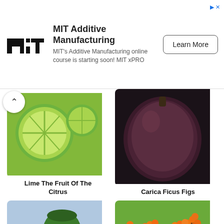[Figure (screenshot): MIT Additive Manufacturing advertisement banner with MIT logo, text about online course, and Learn More button]
[Figure (photo): Sliced lime fruit showing green citrus interior on green background]
Lime The Fruit Of The Citrus
[Figure (photo): Dark purple-brown fig fruit, whole, against dark background]
Carica Ficus Figs
[Figure (photo): Green juice being poured from a pitcher into a glass on a beach]
Juice Fruit Juice Green Juice
[Figure (photo): Bright orange buckthorn berries on branches with green leaves]
Buckthorn Fruits Healthy
[Figure (photo): Partial view of an orange-colored tropical fruit from top]
[Figure (photo): Partial view of green fruits/leaves at bottom right corner]